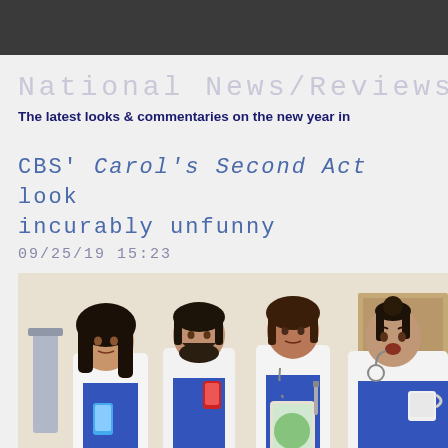National News/Reviews
The latest looks & commentaries on the new year in
CBS' Carol's Second Act looks incurably unfunny
09/25/19 15:23
[Figure (photo): Four people in medical white coats and blue scrubs posing in what appears to be a hospital or medical office setting. From left: a woman with dark hair holding a phone, a man with dark hair and beard, a woman holding a tablet and pen, and a man with a bun hairstyle holding a coffee cup.]